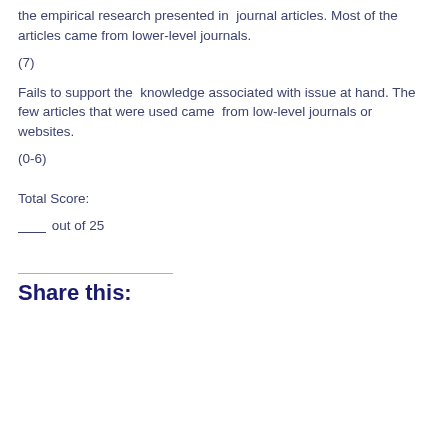the empirical research presented in journal articles. Most of the articles came from lower-level journals.
(7)
Fails to support the knowledge associated with issue at hand. The few articles that were used came from low-level journals or websites.
(0-6)
Total Score:
__ out of 25
Share this: